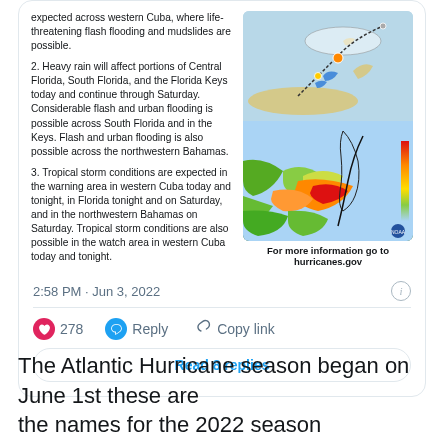expected across western Cuba, where life-threatening flash flooding and mudslides are possible.
2. Heavy rain will affect portions of Central Florida, South Florida, and the Florida Keys today and continue through Saturday. Considerable flash and urban flooding is possible across South Florida and in the Keys. Flash and urban flooding is also possible across the northwestern Bahamas.
3. Tropical storm conditions are expected in the warning area in western Cuba today and tonight, in Florida tonight and on Saturday, and in the northwestern Bahamas on Saturday. Tropical storm conditions are also possible in the watch area in western Cuba today and tonight.
[Figure (map): Tropical storm track map showing predicted path over Cuba and Florida with cone of uncertainty]
[Figure (map): Rainfall/flooding intensity map showing green, yellow, orange and red precipitation bands over Florida and Cuba region]
For more information go to hurricanes.gov
2:58 PM · Jun 3, 2022
278 Reply Copy link
Read 8 replies
The Atlantic Hurricane season began on June 1st these are the names for the 2022 season